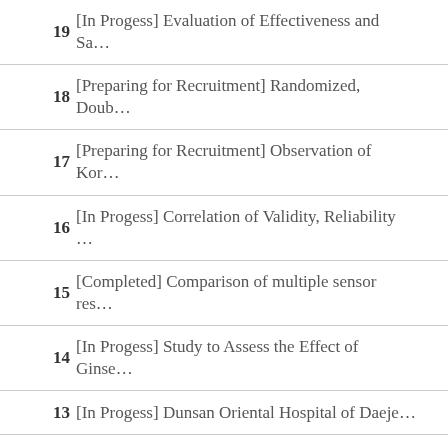19  [In Progess] Evaluation of Effectiveness and Sa…
18  [Preparing for Recruitment] Randomized, Doub…
17  [Preparing for Recruitment] Observation of Kor…
16  [In Progess] Correlation of Validity, Reliability …
15  [Completed] Comparison of multiple sensor res…
14  [In Progess] Study to Assess the Effect of Ginse…
13  [In Progess] Dunsan Oriental Hospital of Daeje…
12  [Completed] Study to evaluate the safety and ph…
11  [Completed] safety in the case of administration…